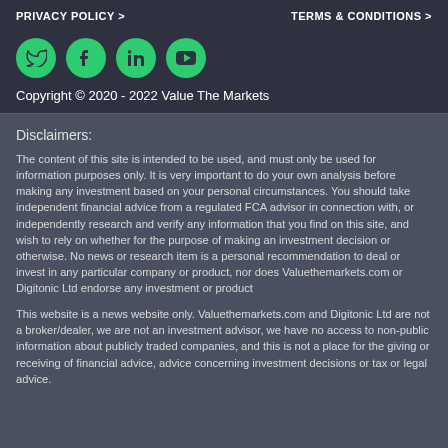PRIVACY POLICY >    TERMS & CONDITIONS >
[Figure (illustration): Four green circular social media icons: Twitter, Facebook, LinkedIn, YouTube]
Copyright © 2020 - 2022 Value The Markets
Disclaimers:
The content of this site is intended to be used, and must only be used for information purposes only. It is very important to do your own analysis before making any investment based on your personal circumstances. You should take independent financial advice from a regulated FCA advisor in connection with, or independently research and verify any information that you find on this site, and wish to rely on whether for the purpose of making an investment decision or otherwise. No news or research item is a personal recommendation to deal or invest in any particular company or product, nor does Valuethemarkets.com or Digitonic Ltd endorse any investment or product
This website is a news website only. Valuethemarkets.com and Digitonic Ltd are not a broker/dealer, we are not an investment advisor, we have no access to non-public information about publicly traded companies, and this is not a place for the giving or receiving of financial advice, advice concerning investment decisions or tax or legal advice.